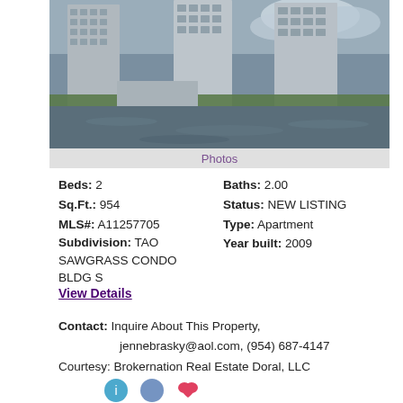[Figure (photo): Aerial/waterfront photo of tall condominium towers with water in the foreground]
Photos
Beds: 2
Baths: 2.00
Sq.Ft.: 954
Status: NEW LISTING
MLS#: A11257705
Type: Apartment
Subdivision: TAO SAWGRASS CONDO BLDG S
Year built: 2009
View Details
Contact: Inquire About This Property, jennebrasky@aol.com, (954) 687-4147
Courtesy: Brokernation Real Estate Doral, LLC